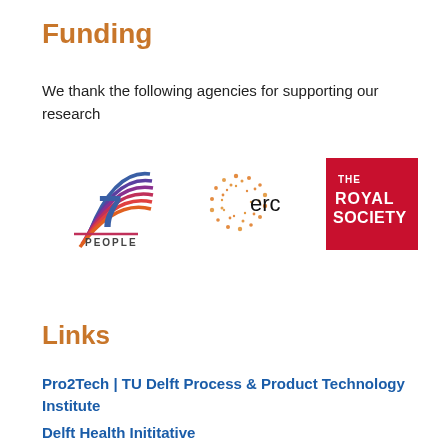Funding
We thank the following agencies for supporting our research
[Figure (logo): Three funding agency logos: FP7 People (EU), ERC (European Research Council), and The Royal Society]
Links
Pro2Tech | TU Delft Process & Product Technology Institute
Delft Health Inititative